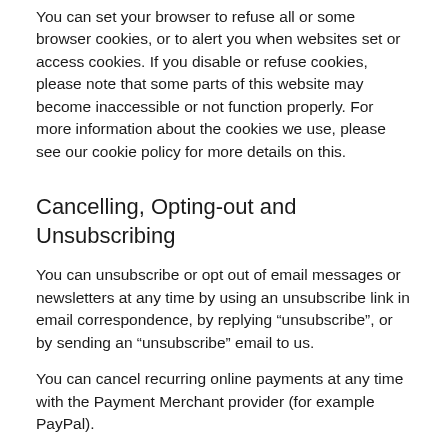You can set your browser to refuse all or some browser cookies, or to alert you when websites set or access cookies. If you disable or refuse cookies, please note that some parts of this website may become inaccessible or not function properly. For more information about the cookies we use, please see our cookie policy for more details on this.
Cancelling, Opting-out and Unsubscribing
You can unsubscribe or opt out of email messages or newsletters at any time by using an unsubscribe link in email correspondence, by replying “unsubscribe”, or by sending an “unsubscribe” email to us.
You can cancel recurring online payments at any time with the Payment Merchant provider (for example PayPal).